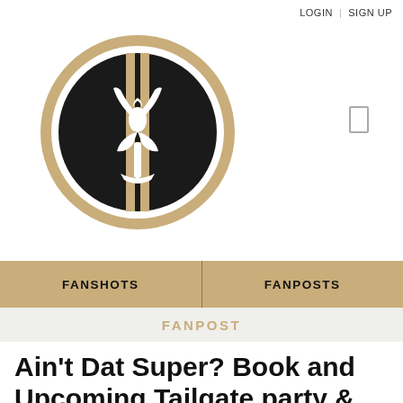LOGIN | SIGN UP
[Figure (logo): New Orleans Saints fan site logo: gold circle border with black circle interior, two vertical gold/white stripes, and a white fleur-de-lis symbol in the center]
FANSHOTS
FANPOSTS
FANPOST
Ain't Dat Super? Book and Upcoming Tailgate party & Bla...